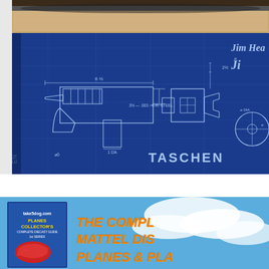[Figure (photo): Close-up photograph of a Taschen book cover featuring blue engineering blueprint drawings of a firearm/gun mechanism with technical dimensions and the TASCHEN publisher logo. The top portion shows the physical book spine and pages, while the main cover shows white technical schematic lines on a blue background with 'Jim He...' and 'TASCHEN' text visible.]
[Figure (photo): Advertising banner for 'Planes Collector's Complete Diecast Guide' featuring Mattel Disney Planes toys. Shows animated planes characters on a sky background with orange/yellow bold text reading 'THE COMPL... MATTEL DIS... PLANES & PLA...' and a book cover thumbnail on the left.]